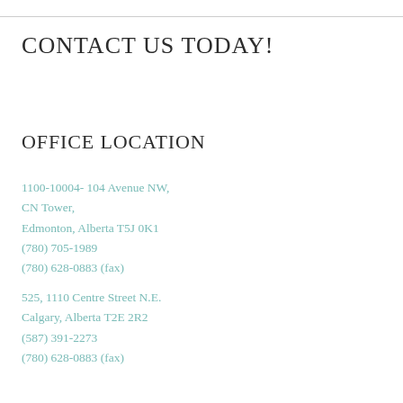CONTACT US TODAY!
OFFICE LOCATION
1100-10004- 104 Avenue NW,
CN Tower,
Edmonton, Alberta T5J 0K1
(780) 705-1989
(780) 628-0883 (fax)
525, 1110 Centre Street N.E.
Calgary, Alberta T2E 2R2
(587) 391-2273
(780) 628-0883 (fax)